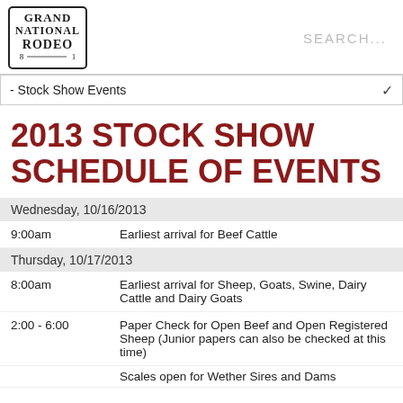[Figure (logo): Grand National Rodeo logo with decorative western text]
SEARCH...
- Stock Show Events
2013 STOCK SHOW SCHEDULE OF EVENTS
Wednesday, 10/16/2013
9:00am   Earliest arrival for Beef Cattle
Thursday, 10/17/2013
8:00am   Earliest arrival for Sheep, Goats, Swine, Dairy Cattle and Dairy Goats
2:00 - 6:00   Paper Check for Open Beef and Open Registered Sheep (Junior papers can also be checked at this time)
Scales open for Wether Sires and Dams